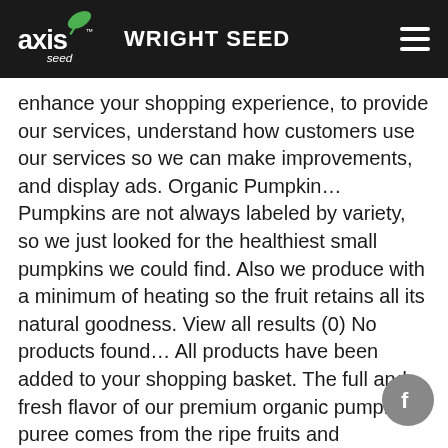axis seed WRIGHT SEED
enhance your shopping experience, to provide our services, understand how customers use our services so we can make improvements, and display ads. Organic Pumpkin… Pumpkins are not always labeled by variety, so we just looked for the healthiest small pumpkins we could find. Also we produce with a minimum of heating so the fruit retains all its natural goodness. View all results (0) No products found… All products have been added to your shopping basket. The full and fresh flavor of our premium organic pumpkin puree comes from the ripe fruits and vegetables, harvested in the best cultivation areas. €1,99 -+ + Add to cart. Back. Use it in soups, desserts and many other recipes. Farmer's Market has the perfect growing conditions in Oregon for pumpkins with brilliant color and gourmet flavor. $13.34. - Koop